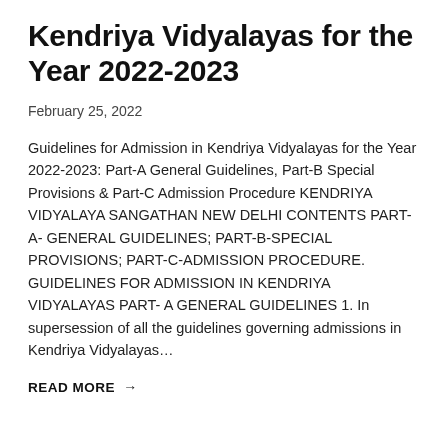Kendriya Vidyalayas for the Year 2022-2023
February 25, 2022
Guidelines for Admission in Kendriya Vidyalayas for the Year 2022-2023: Part-A General Guidelines, Part-B Special Provisions & Part-C Admission Procedure KENDRIYA VIDYALAYA SANGATHAN NEW DELHI CONTENTS PART-A- GENERAL GUIDELINES; PART-B-SPECIAL PROVISIONS; PART-C-ADMISSION PROCEDURE. GUIDELINES FOR ADMISSION IN KENDRIYA VIDYALAYAS PART- A GENERAL GUIDELINES 1. In supersession of all the guidelines governing admissions in Kendriya Vidyalayas…
READ MORE →